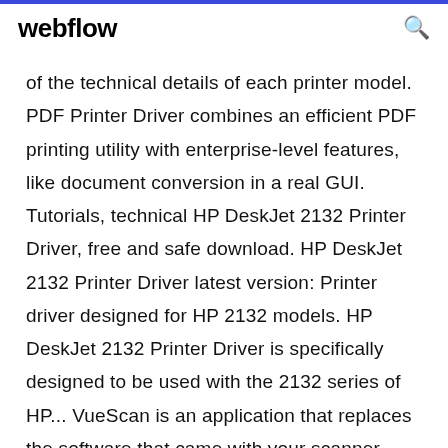webflow
of the technical details of each printer model. PDF Printer Driver combines an efficient PDF printing utility with enterprise-level features, like document conversion in a real GUI. Tutorials, technical HP DeskJet 2132 Printer Driver, free and safe download. HP DeskJet 2132 Printer Driver latest version: Printer driver designed for HP 2132 models. HP DeskJet 2132 Printer Driver is specifically designed to be used with the 2132 series of HP... VueScan is an application that replaces the software that came with your scanner. VueScan is compatible with the Dell Photo AIO Printer 928 on Windows x86 and Windows x64. Free Pdf Printer Driver, latest download, 2019 2018...